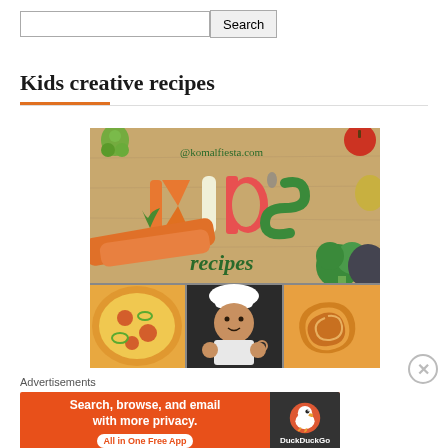Search
Kids creative recipes
[Figure (photo): Kids recipes collage image from komalfiesta.com showing vegetables spelling KID'S, with sub-images of pizza, a child chef, and pastry.]
Advertisements
[Figure (infographic): DuckDuckGo advertisement banner: 'Search, browse, and email with more privacy. All in One Free App' with DuckDuckGo logo on dark background.]